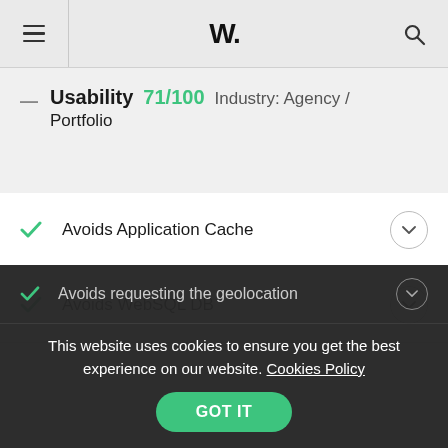W.
Usability 71/100  Industry: Agency / Portfolio
Avoids Application Cache
Avoids WebSQL DB
Avoids requesting the geolocation
This website uses cookies to ensure you get the best experience on our website. Cookies Policy
GOT IT